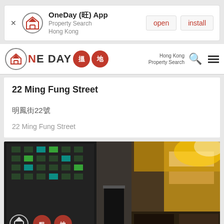[Figure (screenshot): App install banner for OneDay (旺) App - Property Search Hong Kong, with open and install buttons]
[Figure (logo): OneDay 搵地 Hong Kong Property Search navigation bar with search and menu icons]
22 Ming Fung Street
明鳳街22號
22 Ming Fung Street
[Figure (photo): Street-level photo of 22 Ming Fung Street building entrance in Hong Kong, showing a multi-storey building with Chinese signage, adjacent shops with neon lights]